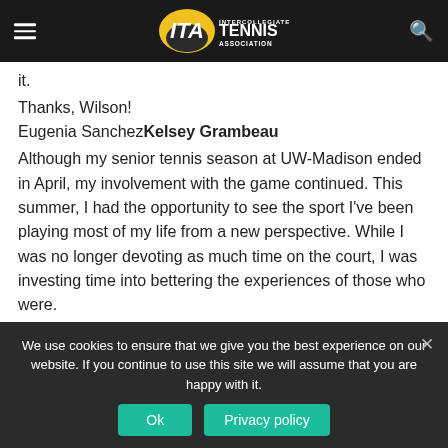ITA Intercollegiate Tennis Association
it.
Thanks, Wilson!
Eugenia SanchezKelsey Grambeau
Although my senior tennis season at UW-Madison ended in April, my involvement with the game continued. This summer, I had the opportunity to see the sport I've been playing most of my life from a new perspective. While I was no longer devoting as much time on the court, I was investing time into bettering the experiences of those who were.
We use cookies to ensure that we give you the best experience on our website. If you continue to use this site we will assume that you are happy with it.